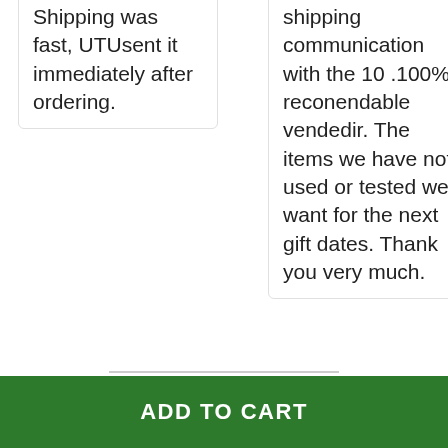Shipping was fast, UTUsent it immediately after ordering.
shipping communication with the 10 .100% reconendable vendedir. The items we have not used or tested we want for the next gift dates. Thank you very much.
ADD TO CART